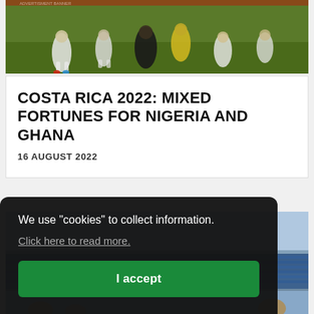[Figure (photo): Football players celebrating on a green pitch, players wearing white and dark kits, crowded group photo on grass]
COSTA RICA 2022: MIXED FORTUNES FOR NIGERIA AND GHANA
16 AUGUST 2022
[Figure (photo): Football stadium exterior or stands with blue seating visible, partial view]
We use "cookies" to collect information. Click here to read more.
I accept